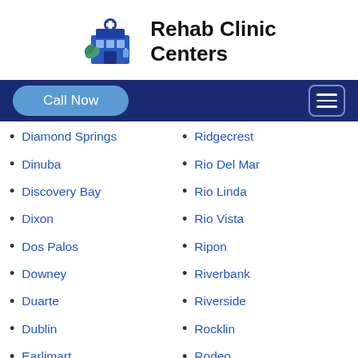Rehab Clinic Centers
Diamond Springs
Dinuba
Discovery Bay
Dixon
Dos Palos
Downey
Duarte
Dublin
Earlimart
East Foothills
Ridgecrest
Rio Del Mar
Rio Linda
Rio Vista
Ripon
Riverbank
Riverside
Rocklin
Rodeo
Rohnert Park
Rolling Hills Estates